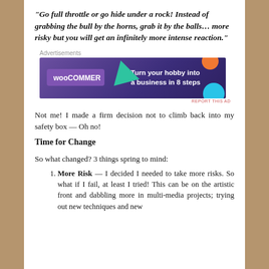“Go full throttle or go hide under a rock!  Instead of grabbing the bull by the horns, grab it by the balls… more risky but you will get an infinitely more intense reaction.”
[Figure (other): WooCommerce advertisement banner with purple background, green triangle shape, orange circle, blue circle, WooCommerce logo on left, and text 'Turn your hobby into a business in 8 steps' on right]
Not me!  I made a firm decision not to climb back into my safety box — Oh no!
Time for Change
So what changed?  3 things spring to mind:
More Risk — I decided I needed to take more risks.  So what if I fail, at least I tried!  This can be on the artistic front and dabbling more in multi-media projects;  trying  out  new  techniques  and  new